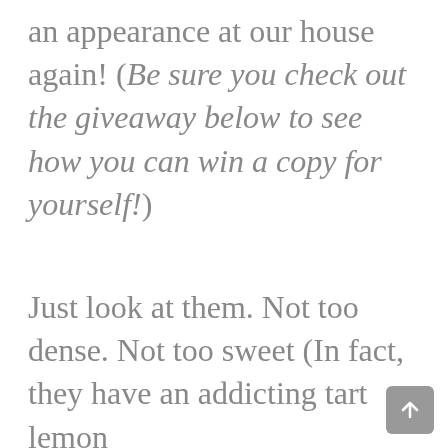an appearance at our house again! (Be sure you check out the giveaway below to see how you can win a copy for yourself!)
Just look at them. Not too dense. Not too sweet (In fact, they have an addicting tart lemon element.)  Not too...